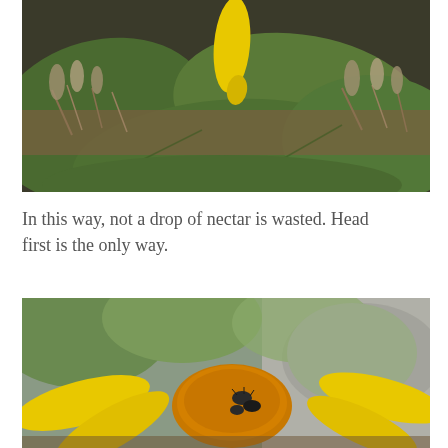[Figure (photo): Close-up photo of a yellow flower bud/petal among large green leaves and dry grass/straw in the background.]
In this way, not a drop of nectar is wasted. Head first is the only way.
[Figure (photo): Close-up photo of a yellow sunflower-like bloom with an insect (beetle) on the orange-brown center disc, with green leaves and rocky background visible.]